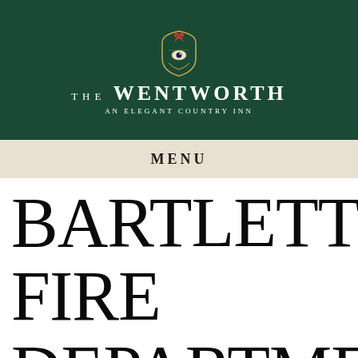[Figure (logo): The Wentworth hotel logo with crest/emblem on dark green background. Text reads 'THE WENTWORTH AN ELEGANT COUNTRY INN']
MENU
BARTLETT FIRE DEPARTMENT